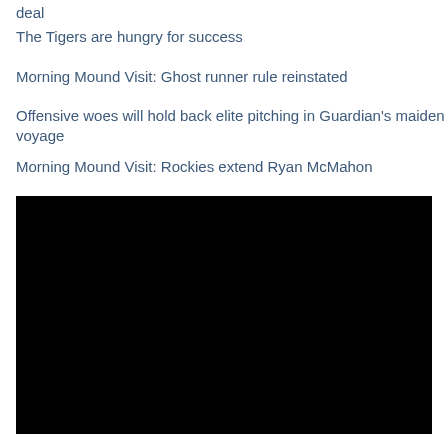deal
The Tigers are hungry for success
Morning Mound Visit: Ghost runner rule reinstated
Offensive woes will hold back elite pitching in Guardian's maiden voyage
Morning Mound Visit: Rockies extend Ryan McMahon
[Figure (photo): Large black rectangle, likely a video embed or image placeholder]